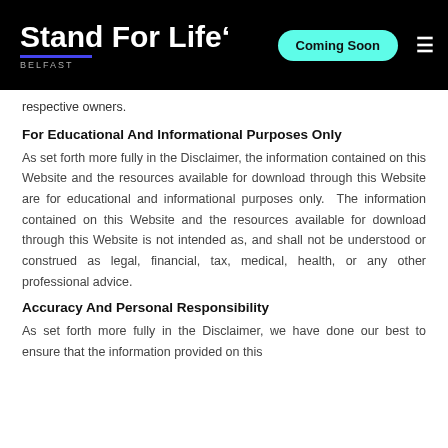Stand For Life BELFAST | Coming Soon
respective owners.
For Educational And Informational Purposes Only
As set forth more fully in the Disclaimer, the information contained on this Website and the resources available for download through this Website are for educational and informational purposes only.  The information contained on this Website and the resources available for download through this Website is not intended as, and shall not be understood or construed as legal, financial, tax, medical, health, or any other professional advice.
Accuracy And Personal Responsibility
As set forth more fully in the Disclaimer, we have done our best to ensure that the information provided on this